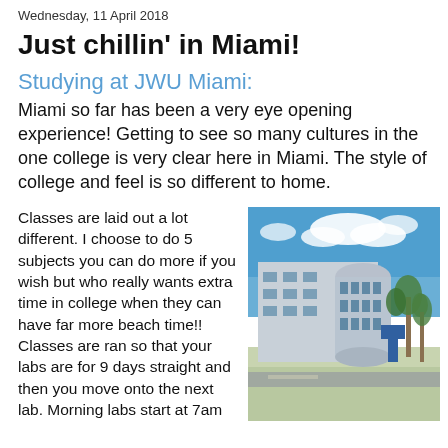Wednesday, 11 April 2018
Just chillin' in Miami!
Studying at JWU Miami:
Miami so far has been a very eye opening experience! Getting to see so many cultures in the one college is very clear here in Miami. The style of college and feel is so different to home.
Classes are laid out a lot different. I choose to do 5 subjects you can do more if you wish but who really wants extra time in college when they can have far more beach time!! Classes are ran so that your labs are for 9 days straight and then you move onto the next lab. Morning labs start at 7am
[Figure (photo): Exterior photo of a modern college building at JWU Miami campus with palm trees and blue sky]